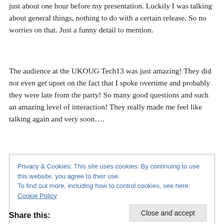just about one hour before my presentation. Luckily I was talking about general things, nothing to do with a certain release. So no worries on that. Just a funny detail to mention.
The audience at the UKOUG Tech13 was just amazing! They did not even get upset on the fact that I spoke overtime and probably they were late from the party! So many good questions and such an amazing level of interaction! They really made me feel like talking again and very soon….
Privacy & Cookies: This site uses cookies. By continuing to use this website, you agree to their use.
To find out more, including how to control cookies, see here: Cookie Policy
[Close and accept]
Share this: